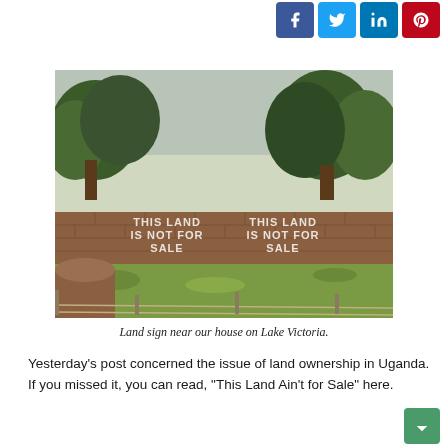[Figure (other): Social media share buttons: Facebook (blue), Twitter (light blue), LinkedIn (blue), Pinterest (red)]
[Figure (photo): Photograph of a field with tall grass in the foreground, trees in the background, and a brick wall with painted text reading 'THIS LAND IS NOT FOR SALE' repeated twice. Barbed wire fence visible in foreground.]
Land sign near our house on Lake Victoria.
Yesterday's post concerned the issue of land ownership in Uganda. If you missed it, you can read, "This Land Ain't for Sale" here.